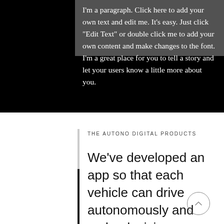I'm a paragraph. Click here to add your own text and edit me. It's easy. Just click "Edit Text" or double click me to add your own content and make changes to the font. I'm a great place for you to tell a story and let your users know a little more about you.
THE AUTONO DIGITAL PRODUCTS
We've developed an app so that each vehicle can drive autonomously and make decisions based